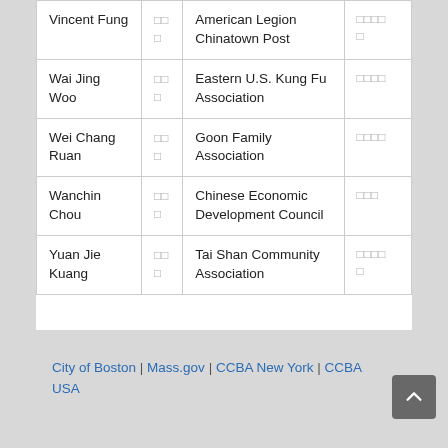| Name | Chinese Name | Organization | Chinese Organization |
| --- | --- | --- | --- |
| Vincent Fung | □□
□ | American Legion Chinatown Post | □□□□
□ |
| Wai Jing Woo | □□
□ | Eastern U.S. Kung Fu Association | □□□□ |
| Wei Chang Ruan | □□
□ | Goon Family Association | □□□□ |
| Wanchin Chou | □□
□ | Chinese Economic Development Council | □□□ |
| Yuan Jie Kuang | □□
□ | Tai Shan Community Association | □□□□
□ |
City of Boston | Mass.gov | CCBA New York | CCBA USA